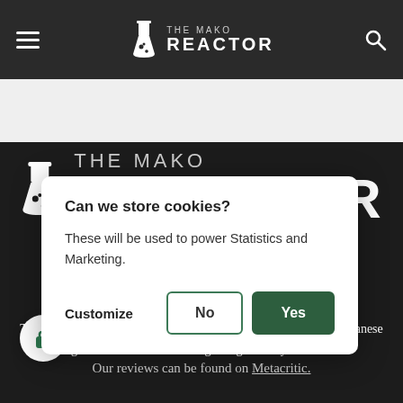The Mako Reactor — navigation bar with hamburger menu, logo, and search icon
[Figure (screenshot): Website screenshot of The Mako Reactor with a cookie consent modal overlay. The page shows the site's dark-themed homepage with the logo visible, and a white modal dialog asking 'Can we store cookies?' with options to Customize, say No, or Yes.]
Can we store cookies?
These will be used to power Statistics and Marketing.
Customize    No    Yes
The Mako Reactor is your one-stop destination for news about Japanese games and the state of the gaming industry in India.
Our reviews can be found on Metacritic.